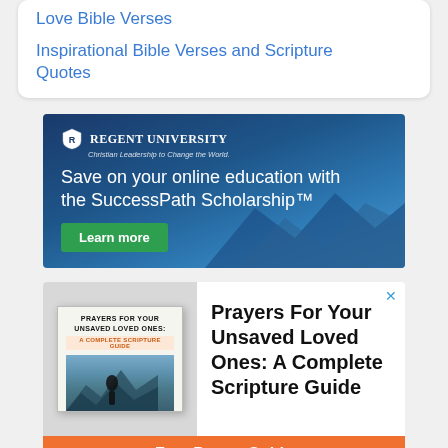Love Bible Verses
Inspirational Bible Verses and Scripture Quotes
[Figure (infographic): Regent University advertisement: 'Save on your online education with the SuccessPath Scholarship™' with a 'Learn more' green button, set against a dark blue sky/mountains background.]
[Figure (infographic): Advertisement for 'Prayers For Your Unsaved Loved Ones: A Complete Scripture Guide' showing a book cover and bold black text on white background, with an orange 'Free Prayer Guide' button at the bottom. A blue X close button in the top right.]